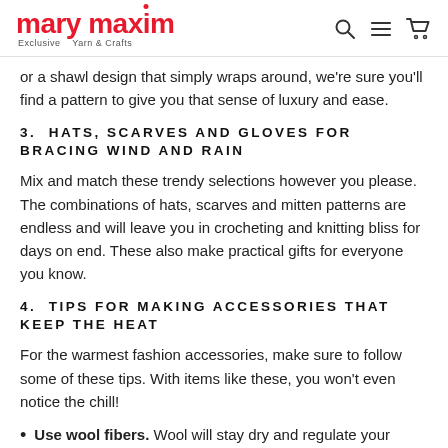mary maxim — Exclusive Yarn & Crafts
or a shawl design that simply wraps around, we're sure you'll find a pattern to give you that sense of luxury and ease.
3. HATS, SCARVES AND GLOVES FOR BRACING WIND AND RAIN
Mix and match these trendy selections however you please. The combinations of hats, scarves and mitten patterns are endless and will leave you in crocheting and knitting bliss for days on end. These also make practical gifts for everyone you know.
4. TIPS FOR MAKING ACCESSORIES THAT KEEP THE HEAT
For the warmest fashion accessories, make sure to follow some of these tips. With items like these, you won't even notice the chill!
Use wool fibers. Wool will stay dry and regulate your